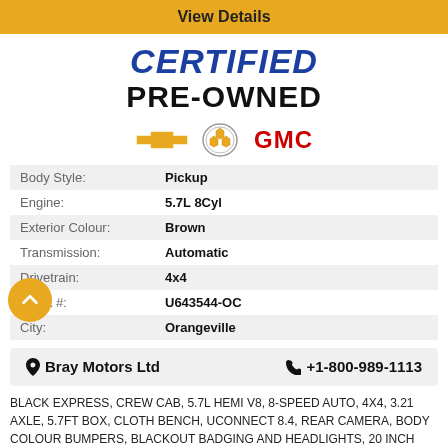View Details
CERTIFIED PRE-OWNED
[Figure (logo): Chevrolet, Buick, and GMC brand logos in a row]
| Label | Value |
| --- | --- |
| Body Style: | Pickup |
| Engine: | 5.7L 8Cyl |
| Exterior Colour: | Brown |
| Transmission: | Automatic |
| Drivetrain: | 4x4 |
| Stock #: | U643544-OC |
| City: | Orangeville |
Bray Motors Ltd   +1-800-989-1113
BLACK EXPRESS, CREW CAB, 5.7L HEMI V8, 8-SPEED AUTO, 4X4, 3.21 AXLE, 5.7FT BOX, CLOTH BENCH, UCONNECT 8.4, REAR CAMERA, BODY COLOUR BUMPERS, BLACKOUT BADGING AND HEADLIGHTS, 20 INCH BLACK